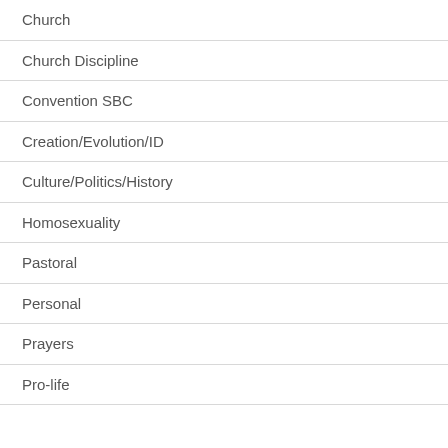Church
Church Discipline
Convention SBC
Creation/Evolution/ID
Culture/Politics/History
Homosexuality
Pastoral
Personal
Prayers
Pro-life